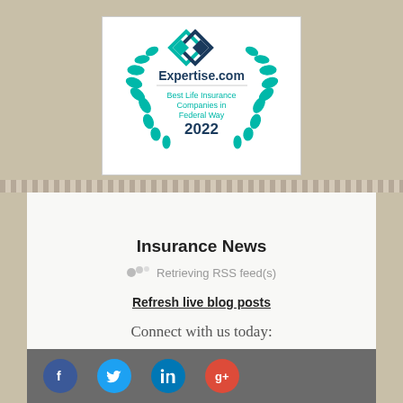[Figure (logo): Expertise.com badge: Best Life Insurance Companies in Federal Way 2022]
Insurance News
Retrieving RSS feed(s)
Refresh live blog posts
Connect with us today:
[Figure (infographic): Social media icons: Facebook, Twitter, LinkedIn, Google+]